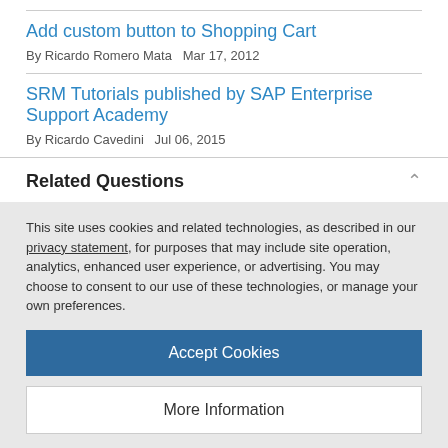Add custom button to Shopping Cart
By Ricardo Romero Mata   Mar 17, 2012
SRM Tutorials published by SAP Enterprise Support Academy
By Ricardo Cavedini   Jul 06, 2015
Related Questions
This site uses cookies and related technologies, as described in our privacy statement, for purposes that may include site operation, analytics, enhanced user experience, or advertising. You may choose to consent to our use of these technologies, or manage your own preferences.
Accept Cookies
More Information
Privacy Policy | Powered by:  TrustArc
By Former Member   Jan 24, 2012